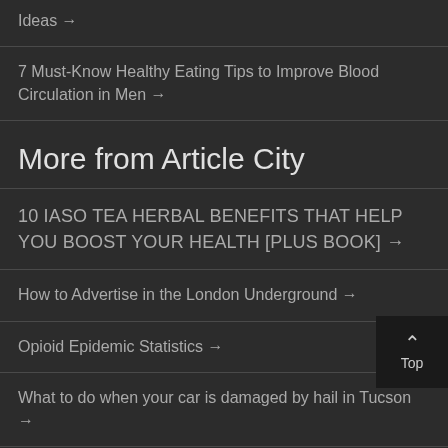Ideas →
7 Must-Know Healthy Eating Tips to Improve Blood Circulation in Men →
More from Article City
10 IASO TEA HERBAL BENEFITS THAT HELP YOU BOOST YOUR HEALTH [PLUS BOOK] →
How to Advertise in the London Underground →
Opioid Epidemic Statistics →
What to do when your car is damaged by hail in Tucson →